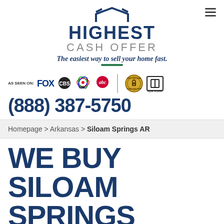[Figure (logo): Highest Cash Offer logo with house icon, company name and tagline 'The easiest way to sell your home fast.']
[Figure (logo): Media logos: AS SEEN ON FOX, CBS, NBC, abc, plus 100% Secure badge and Equal Housing Opportunity badge]
(888) 387-5750
Homepage > Arkansas > Siloam Springs AR
WE BUY SILOAM SPRINGS HOUSES FOR CASH